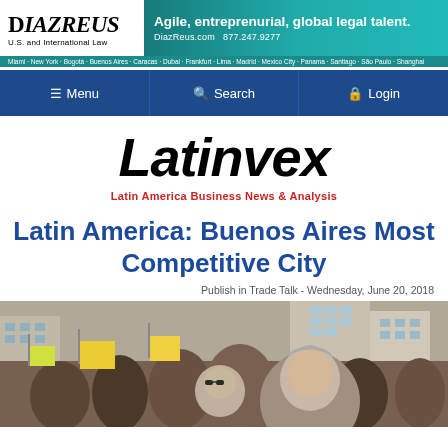[Figure (logo): DiazReus U.S. and International Law firm advertisement banner with teal gradient background and office city list]
[Figure (screenshot): Navigation bar with Menu, Search, and Login buttons on dark blue background]
Latinvex
Latin America Business News & Analysis
Latin America: Buenos Aires Most Competitive City
Publish in Trade Talk - Wednesday, June 20, 2018
[Figure (photo): Crowd of people in a street with buildings in background, man with grey hair prominent in foreground]